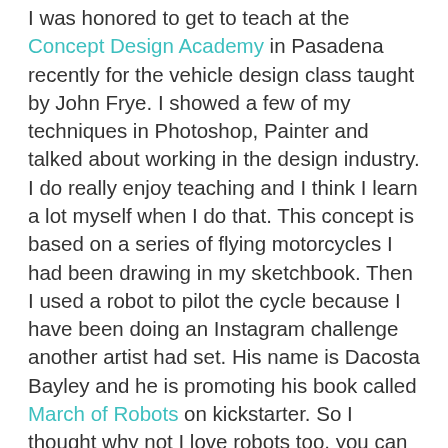I was honored to get to teach at the Concept Design Academy in Pasadena recently for the vehicle design class taught by John Frye. I showed a few of my techniques in Photoshop, Painter and talked about working in the design industry. I do really enjoy teaching and I think I learn a lot myself when I do that. This concept is based on a series of flying motorcycles I had been drawing in my sketchbook. Then I used a robot to pilot the cycle because I have been doing an Instagram challenge another artist had set. His name is Dacosta Bayley and he is promoting his book called March of Robots on kickstarter. So I thought why not I love robots too, you can flip through my Instagram @dwaynevance account and see all the robots I have been drawing. So I thought I would share my new image and get my blog fired back up. Go through the gallery section of this post and you will see all my thumbnail sketches and several steps leading up to the final piece.  Thanks for stopping by.